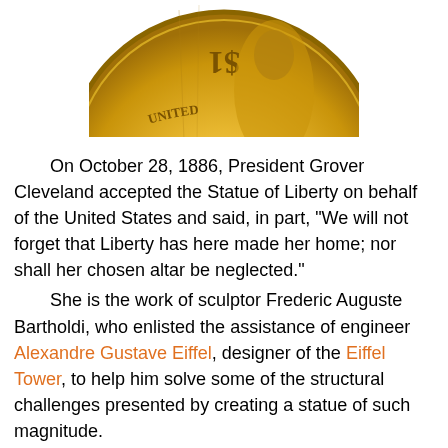[Figure (photo): A gold-colored US dollar coin ($1) showing the reverse side with 'UNITED' text and a figure, partially cropped at the top of the page.]
On October 28, 1886, President Grover Cleveland accepted the Statue of Liberty on behalf of the United States and said, in part, "We will not forget that Liberty has here made her home; nor shall her chosen altar be neglected."
She is the work of sculptor Frederic Auguste Bartholdi, who enlisted the assistance of engineer Alexandre Gustave Eiffel, designer of the Eiffel Tower, to help him solve some of the structural challenges presented by creating a statue of such magnitude.
The Statue of Liberty was completed in 1884 and shipped to the United States in June 1885, having been disassembled into 350 individual pieces that were packed in over 200 crates for the transatlantic voyage. In four months' time, she was re-assembled in New York Harbor, standing just over 151 feet from the top of the statue's base to the tip of the torch her right hand holds high above the waters of